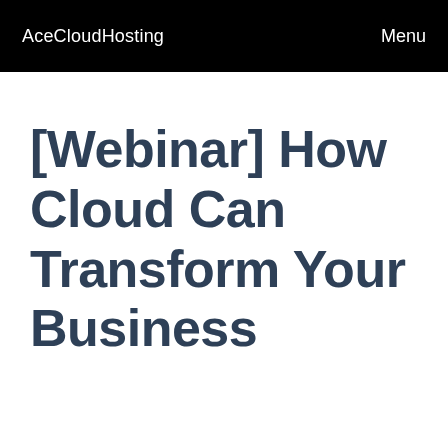AceCloudHosting  Menu
[Webinar] How Cloud Can Transform Your Business